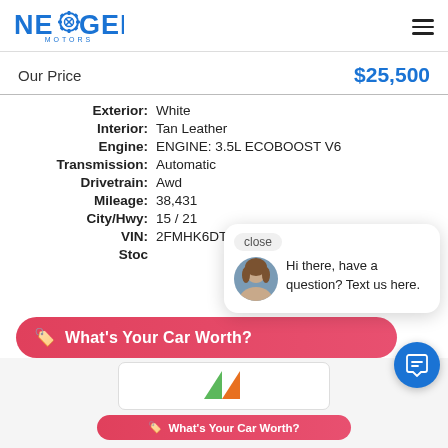NexGen Motors
Our Price  $25,500
Exterior: White
Interior: Tan Leather
Engine: ENGINE: 3.5L ECOBOOST V6
Transmission: Automatic
Drivetrain: Awd
Mileage: 38,431
City/Hwy: 15 / 21
VIN: 2FMHK6DT5KBA10704
Stoc[k: partially obscured]
[Figure (screenshot): Chat popup with avatar of a woman and message: Hi there, have a question? Text us here. With close button.]
What's Your Car Worth?
[Figure (screenshot): Bottom bar with car worth logo and button]
What's Your Car Worth?